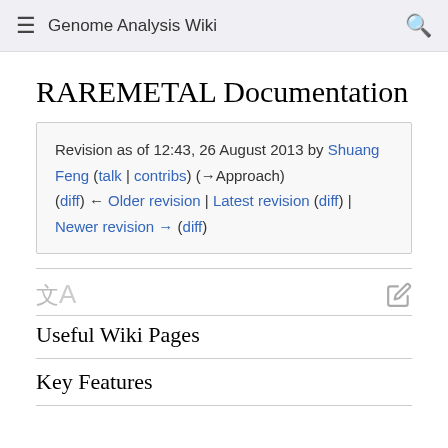Genome Analysis Wiki
RAREMETAL Documentation
Revision as of 12:43, 26 August 2013 by Shuang Feng (talk | contribs) (→Approach)
(diff) ← Older revision | Latest revision (diff) | Newer revision → (diff)
Useful Wiki Pages
Key Features